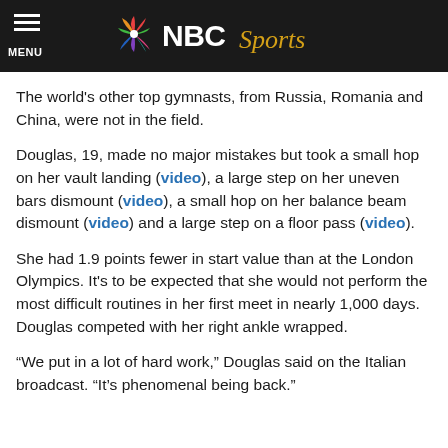NBC Sports
The world's other top gymnasts, from Russia, Romania and China, were not in the field.
Douglas, 19, made no major mistakes but took a small hop on her vault landing (video), a large step on her uneven bars dismount (video), a small hop on her balance beam dismount (video) and a large step on a floor pass (video).
She had 1.9 points fewer in start value than at the London Olympics. It’s to be expected that she would not perform the most difficult routines in her first meet in nearly 1,000 days. Douglas competed with her right ankle wrapped.
“We put in a lot of hard work,” Douglas said on the Italian broadcast. “It’s phenomenal being back.”